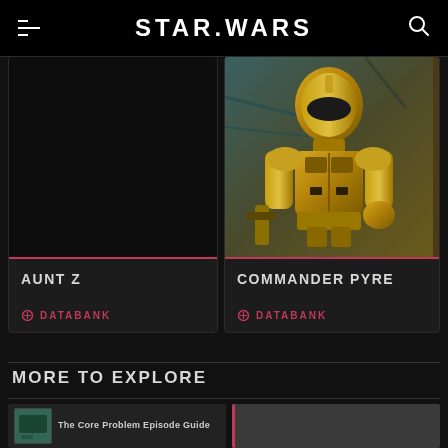STAR WARS
[Figure (screenshot): Card for Aunt Z character - dark/black background image]
AUNT Z
DATABANK
[Figure (photo): Card for Commander Pyre - golden stormtrooper armor character holding a weapon]
COMMANDER PYRE
DATABANK
MORE TO EXPLORE
[Figure (screenshot): Thumbnail: The Core Problem Episode Guide]
[Figure (screenshot): Right thumbnail placeholder]